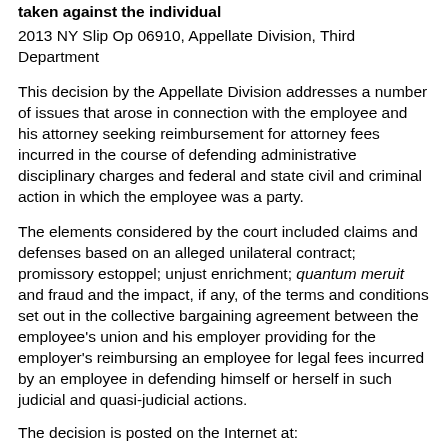taken against the individual
2013 NY Slip Op 06910, Appellate Division, Third Department
This decision by the Appellate Division addresses a number of issues that arose in connection with the employee and his attorney seeking reimbursement for attorney fees incurred in the course of defending administrative disciplinary charges and federal and state civil and criminal action in which the employee was a party.
The elements considered by the court included claims and defenses based on an alleged unilateral contract; promissory estoppel; unjust enrichment; quantum meruit and fraud and the impact, if any, of the terms and conditions set out in the collective bargaining agreement between the employee's union and his employer providing for the employer's reimbursing an employee for legal fees incurred by an employee in defending himself or herself in such judicial and quasi-judicial actions.
The decision is posted on the Internet at: